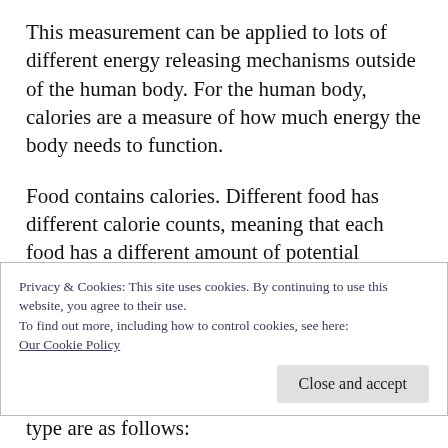This measurement can be applied to lots of different energy releasing mechanisms outside of the human body. For the human body, calories are a measure of how much energy the body needs to function.
Food contains calories. Different food has different calorie counts, meaning that each food has a different amount of potential energy.
There are three basic types of foods that make up all the food that humans eat: carbohydrates
Privacy & Cookies: This site uses cookies. By continuing to use this website, you agree to their use.
To find out more, including how to control cookies, see here:
Our Cookie Policy
Close and accept
type are as follows: